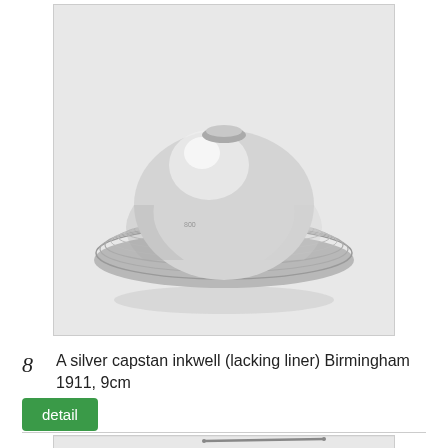[Figure (photo): Photograph of a silver capstan inkwell viewed from above, showing its circular ridged base and dome shape, on a light grey background.]
8  A silver capstan inkwell (lacking liner) Birmingham 1911, 9cm
detail
[Figure (photo): Photograph of a silver chain and decorative pendant/bar brooch item on a light grey background, partially visible at bottom of page.]